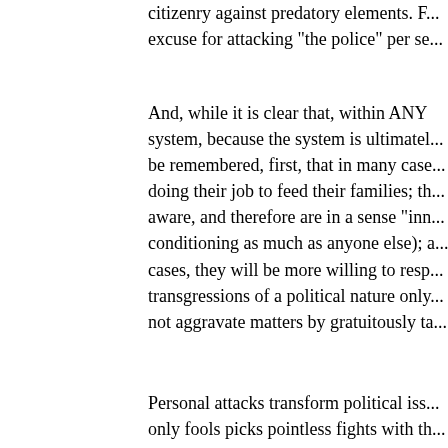citizenry against predatory elements. F... excuse for attacking "the police" per se...
And, while it is clear that, within ANY system, because the system is ultimatel... be remembered, first, that in many case... doing their job to feed their families; th... aware, and therefore are in a sense "inn... conditioning as much as anyone else); a... cases, they will be more willing to resp... transgressions of a political nature only... not aggravate matters by gratuitously ta...
Personal attacks transform political iss... only fools picks pointless fights with th... potentially more numerous, and have th... as well as the complete machinery of th...
None of this is to say that confrontation... action (e.g., occupation protests of esta... concerned, or that passive resistance is...